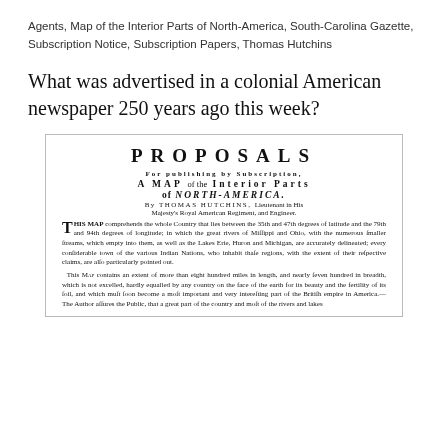Agents, Map of the Interior Parts of North-America, South-Carolina Gazette, Subscription Notice, Subscription Papers, Thomas Hutchins
What was advertised in a colonial American newspaper 250 years ago this week?
[Figure (photo): Scanned image of an 18th-century colonial newspaper advertisement titled 'PROPOSALS FOR PUBLISHING BY SUBSCRIPTION, A MAP of the Interior Parts of NORTH-AMERICA. By THOMAS HUTCHINS, Lieutenant in His Majesty's Royal American Regiment, and Engineer.' The text describes the map covering the country between the 35th and 47th degrees of latitude and 79th and 94th degrees of longitude, including rivers of Mississippi and Ohio, Lakes Erie, Huron and Michigan, and various Indian Nations. A second paragraph notes the map contains more than eight hundred miles in length and nearly seven hundred in breadth.]